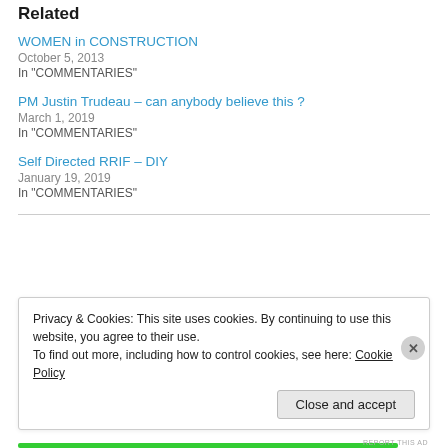Related
WOMEN in CONSTRUCTION
October 5, 2013
In "COMMENTARIES"
PM Justin Trudeau – can anybody believe this ?
March 1, 2019
In "COMMENTARIES"
Self Directed RRIF – DIY
January 19, 2019
In "COMMENTARIES"
Privacy & Cookies: This site uses cookies. By continuing to use this website, you agree to their use. To find out more, including how to control cookies, see here: Cookie Policy
Close and accept